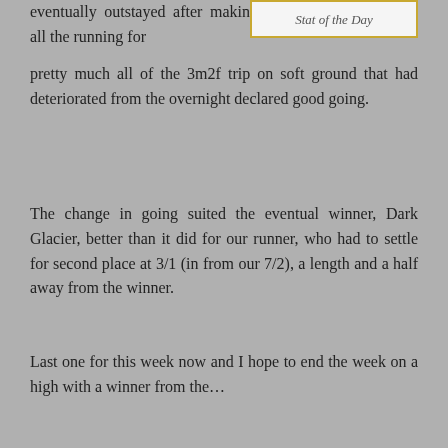eventually outstayed after making all the running for pretty much all of the 3m2f trip on soft ground that had deteriorated from the overnight declared good going.
[Figure (other): Stat of the Day box with gold border]
The change in going suited the eventual winner, Dark Glacier, better than it did for our runner, who had to settle for second place at 3/1 (in from our 7/2), a length and a half away from the winner.
Last one for this week now and I hope to end the week on a high with a winner from the…
5.10 Hexham:
And another old friend of SotD who is profitable overall and in decent form of late. The trainer in question is Mrs Dianne Sayer, who has a 20% strike